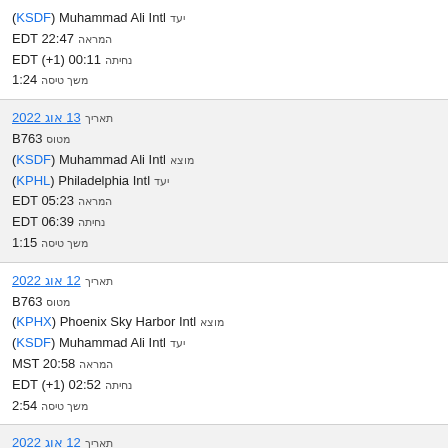(KSDF) Muhammad Ali Intl יעד | המראה EDT 22:47 | נחיתה EDT (+1) 00:11 | משך טיסה 1:24
תאריך 13 אוג 2022 | מטוס B763 | מוצא (KSDF) Muhammad Ali Intl | יעד (KPHL) Philadelphia Intl | המראה EDT 05:23 | נחיתה EDT 06:39 | משך טיסה 1:15
תאריך 12 אוג 2022 | מטוס B763 | מוצא (KPHX) Phoenix Sky Harbor Intl | יעד (KSDF) Muhammad Ali Intl | המראה MST 20:58 | נחיתה EDT (+1) 02:52 | משך טיסה 2:54
תאריך 12 אוג 2022 | מטוס B763